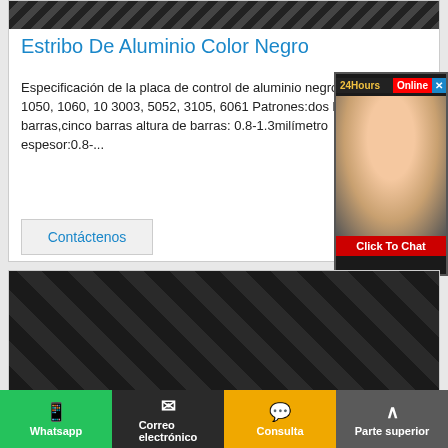[Figure (photo): Dark aluminum tread plate texture at top of card]
Estribo De Aluminio Color Negro
Especificación de la placa de control de aluminio negro Aleación: 1050, 1060, 10 3003, 5052, 3105, 6061 Patrones:dos barras,tres barras,cinco barras altura de barras: 0.8-1.3milímetro espesor:0.8-...
Contáctenos
[Figure (photo): Customer service representative - 24Hours Online chat widget]
[Figure (photo): Dark aluminum diamond/checker plate product photo in second card]
Whatsapp | Correo electrónico | Consulta | Parte superior